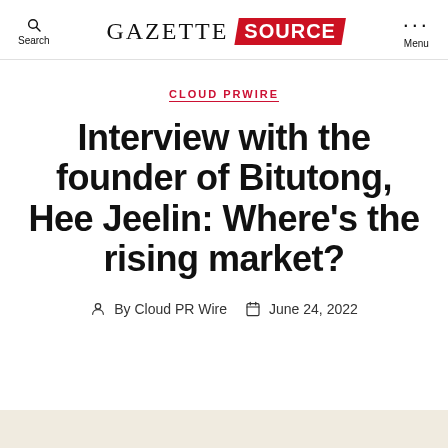GAZETTE SOURCE — Search | Menu
CLOUD PRWIRE
Interview with the founder of Bitutong, Hee Jeelin: Where's the rising market?
By Cloud PR Wire  June 24, 2022